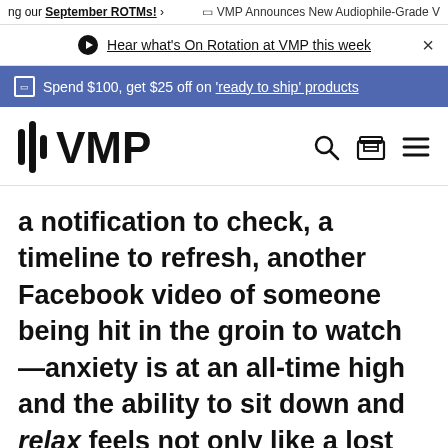ng our September ROTMs! >   VMP Announces New Audiophile-Grade V
Hear what's On Rotation at VMP this week  X
Spend $100, get $25 off on 'ready to ship' products
[Figure (logo): VMP (Vinyl Me, Please) logo with vertical bar waveform and bold VMP text, plus search, cart, and hamburger menu icons]
a notification to check, a timeline to refresh, another Facebook video of someone being hit in the groin to watch —anxiety is at an all-time high and the ability to sit down and relax feels not only like a lost art but a literal impossibility. Unwind? In this economy?